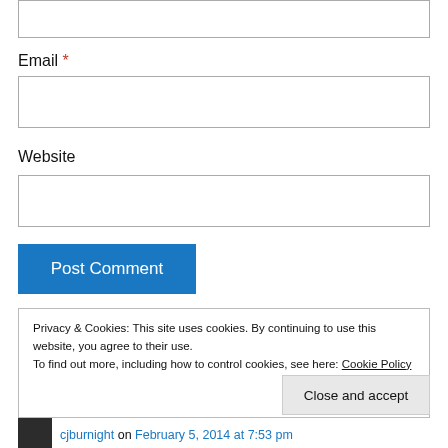(input box - top, partial)
Email *
(email input box)
Website
(website input box)
Post Comment
Privacy & Cookies: This site uses cookies. By continuing to use this website, you agree to their use. To find out more, including how to control cookies, see here: Cookie Policy
Close and accept
cjburnight on February 5, 2014 at 7:53 pm